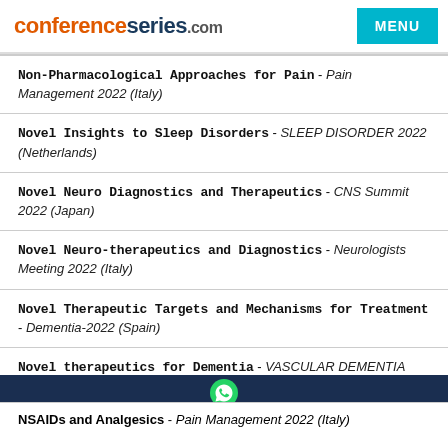conferenceseries.com MENU
Non-Pharmacological Approaches for Pain - Pain Management 2022 (Italy)
Novel Insights to Sleep Disorders - SLEEP DISORDER 2022 (Netherlands)
Novel Neuro Diagnostics and Therapeutics - CNS Summit 2022 (Japan)
Novel Neuro-therapeutics and Diagnostics - Neurologists Meeting 2022 (Italy)
Novel Therapeutic Targets and Mechanisms for Treatment - Dementia-2022 (Spain)
Novel therapeutics for Dementia - VASCULAR DEMENTIA
NSAIDs and Analgesics - Pain Management 2022 (Italy)